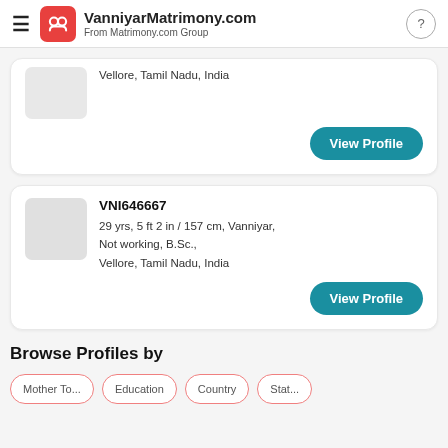VanniyarMatrimony.com — From Matrimony.com Group
Vellore, Tamil Nadu, India
View Profile
VNI646667
29 yrs, 5 ft 2 in / 157 cm, Vanniyar, Not working, B.Sc., Vellore, Tamil Nadu, India
View Profile
Browse Profiles by
Mother Tongue
Education
Country
State